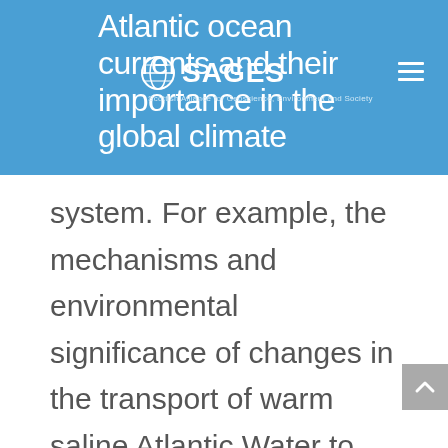Atlantic ocean currents and their importance in the global climate system. For example, the mechanisms and environmental significance of changes in the transport of warm saline Atlantic Water to North West Europe is effectively evaluated by reconstructing periods of variability and complete shutdown which
[Figure (logo): SAGES logo with globe icon and text 'Scottish Alliance for Geoscience, Environment and Society']
system. For example, the mechanisms and environmental significance of changes in the transport of warm saline Atlantic Water to North West Europe is effectively evaluated by reconstructing periods of variability and complete shutdown which